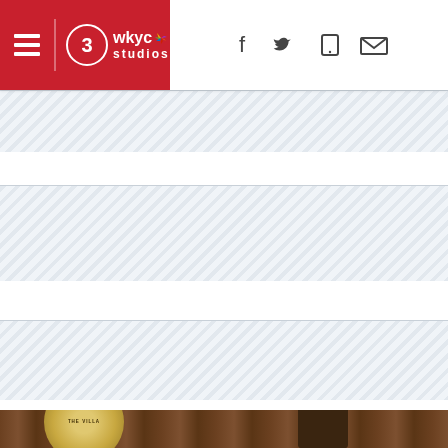WKYC Studios - Channel 3 News
[Figure (screenshot): WKYC Studios logo with NBC peacock icon on red background, hamburger menu icon on left, and social media icons (Facebook, Twitter, mobile, email) on right]
[Figure (photo): News website screenshot showing WKYC Studios header with advertisement banner strips and a photo at the bottom featuring a person at a podium with an official seal]